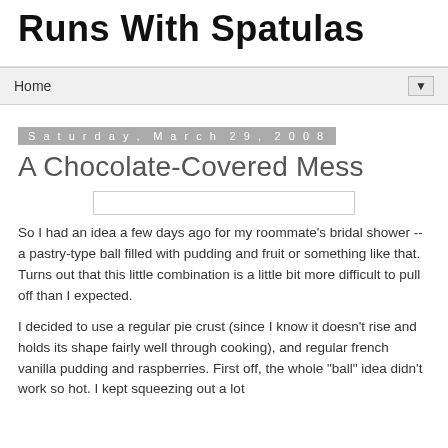Runs With Spatulas
Home
Saturday, March 29, 2008
A Chocolate-Covered Mess
So I had an idea a few days ago for my roommate's bridal shower -- a pastry-type ball filled with pudding and fruit or something like that. Turns out that this little combination is a little bit more difficult to pull off than I expected.
I decided to use a regular pie crust (since I know it doesn't rise and holds its shape fairly well through cooking), and regular french vanilla pudding and raspberries. First off, the whole "ball" idea didn't work so hot. I kept squeezing out a lot of the pudding, which was frustrating to say the least. So I...